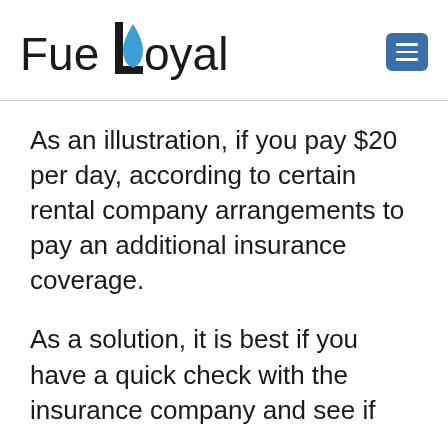[Figure (logo): FueLoyaL logo with blue water drop replacing the letter L in Fuel]
As an illustration, if you pay $20 per day, according to certain rental company arrangements to pay an additional insurance coverage.
As a solution, it is best if you have a quick check with the insurance company and see if